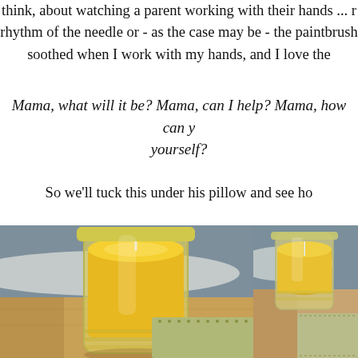think, about watching a parent working with their hands ... rhythm of the needle or - as the case may be - the paintbrush soothed when I work with my hands, and I love the
Mama, what will it be? Mama, can I help? Mama, how can you yourself?
So we'll tuck this under his pillow and see ho
[Figure (photo): A glass mason jar filled with yellow beeswax candle with a white wick, sitting on a wooden board alongside a green felt sachet, with a blue and white knitted textile in the background.]